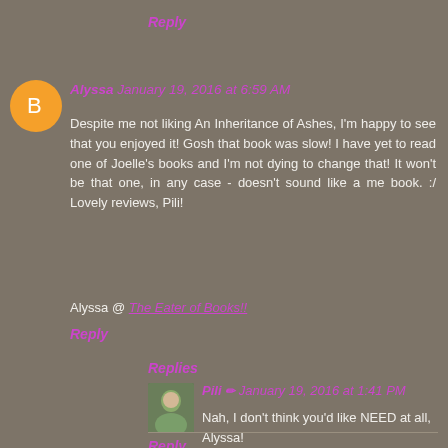Reply
Alyssa January 19, 2016 at 6:59 AM
Despite me not liking An Inheritance of Ashes, I'm happy to see that you enjoyed it! Gosh that book was slow! I have yet to read one of Joelle's books and I'm not dying to change that! It won't be that one, in any case - doesn't sound like a me book. :/ Lovely reviews, Pili!
Alyssa @ The Eater of Books!!
Reply
Replies
Pili ✏ January 19, 2016 at 1:41 PM
Nah, I don't think you'd like NEED at all, Alyssa!
Reply